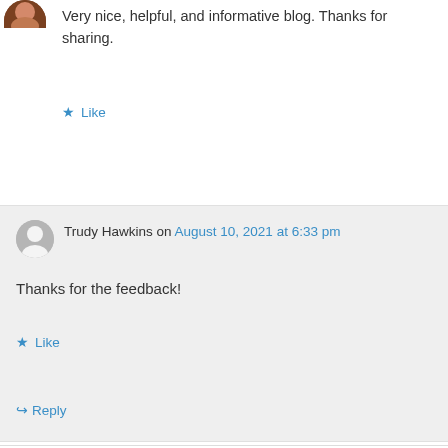Very nice, helpful, and informative blog. Thanks for sharing.
★ Like
↪ Reply
Trudy Hawkins on August 10, 2021 at 6:33 pm
Thanks for the feedback!
★ Like
↪ Reply
Trudy Hawkins on July 15, 2019 at 10:05 am
Hi there!